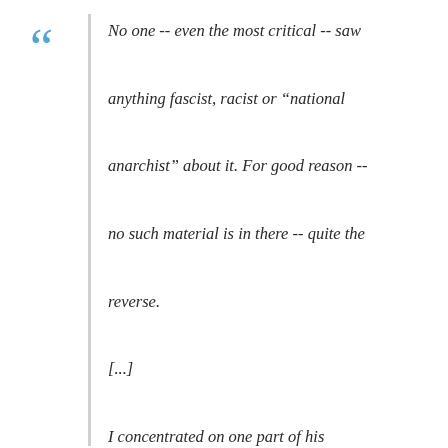No one -- even the most critical -- saw anything fascist, racist or "national anarchist" about it. For good reason -- no such material is in there -- quite the reverse.

[...]

I concentrated on one part of his argument because that part seemed unfair -- and it is. As indicated, Black Flame is not a racist book, while flawed it is (in general) a good introduction to anarchism. This in itself explains much